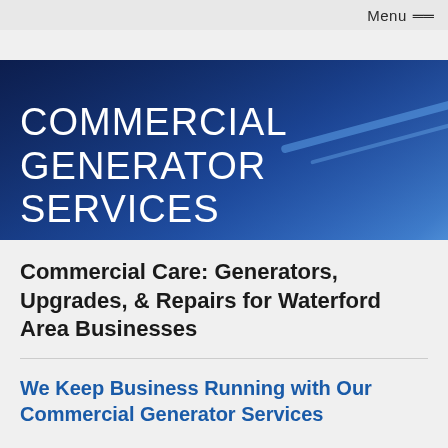Menu ☰
COMMERCIAL GENERATOR SERVICES
Commercial Care: Generators, Upgrades, & Repairs for Waterford Area Businesses
We Keep Business Running with Our Commercial Generator Services